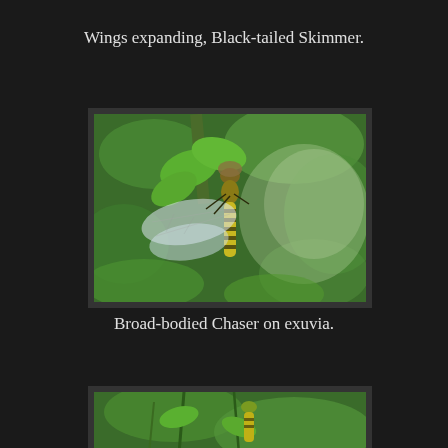Wings expanding, Black-tailed Skimmer.
[Figure (photo): Broad-bodied Chaser dragonfly hanging from green plant foliage, wings expanded, on exuvia. Close-up nature photography with green blurred background.]
Broad-bodied Chaser on exuvia.
[Figure (photo): Partial view of dragonfly or similar insect on green plant stems, bottom of page cropped.]